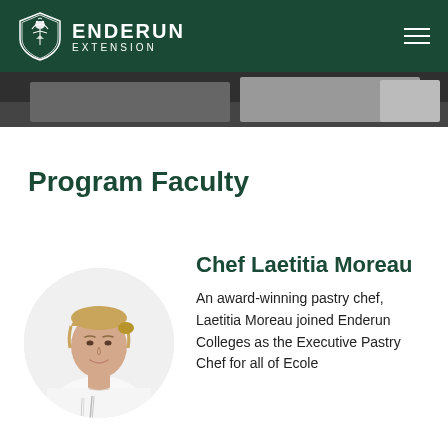ENDERUN EXTENSION
[Figure (photo): Partial banner photo showing a dark background, likely a cooking or culinary scene]
Program Faculty
[Figure (photo): Circular portrait photo of Chef Laetitia Moreau, a woman in a white chef's jacket with blonde hair pulled back, smiling]
Chef Laetitia Moreau
An award-winning pastry chef, Laetitia Moreau joined Enderun Colleges as the Executive Pastry Chef for all of Ecole